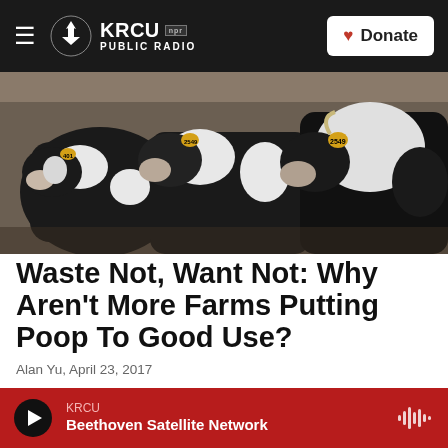KRCU NPR PUBLIC RADIO | Donate
[Figure (photo): A group of black and white Holstein dairy cows crowded together, with yellow ear tags visible; close-up shot from front.]
Waste Not, Want Not: Why Aren't More Farms Putting Poop To Good Use?
Alan Yu, April 23, 2017
Digesters convert livestock manure into electricity. Farmers can use it to power their operations or even sell some back to the grid. But some have found the
KRCU | Beethoven Satellite Network